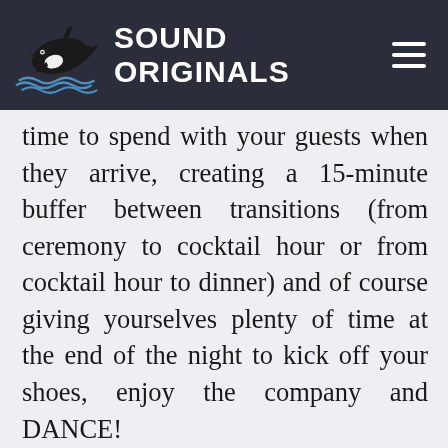SOUND ORIGINALS
time to spend with your guests when they arrive, creating a 15-minute buffer between transitions (from ceremony to cocktail hour or from cocktail hour to dinner) and of course giving yourselves plenty of time at the end of the night to kick off your shoes, enjoy the company and DANCE!